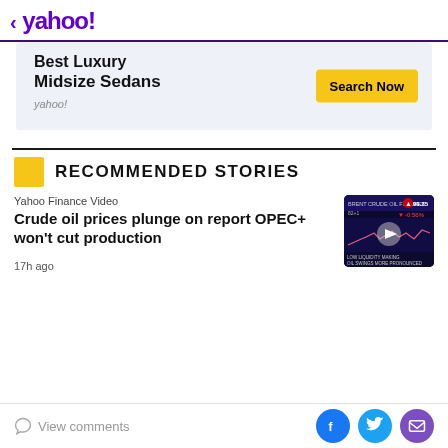< yahoo!
[Figure (screenshot): Yahoo advertisement banner for Best Luxury Midsize Sedans with a Search Now button]
RECOMMENDED STORIES
Yahoo Finance Video
Crude oil prices plunge on report OPEC+ won't cut production
[Figure (screenshot): Video thumbnail showing crude oil futures chart with price 99.25 and change -0.56%, with text LOW LIQUIDITY MAKING OIL SWINGS MORE PRONOUNCED]
17h ago
View comments